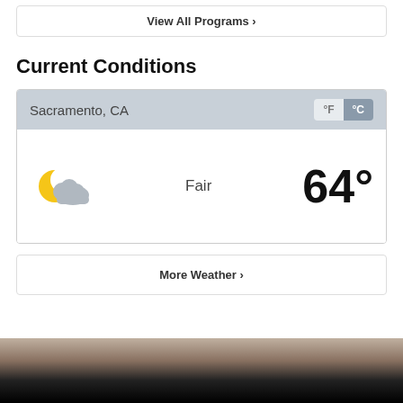View All Programs ›
Current Conditions
[Figure (infographic): Weather widget showing Sacramento, CA with °F/°C toggle, partly cloudy night icon, condition 'Fair', and temperature '64°']
More Weather ›
[Figure (photo): Partial photo at bottom of page, dark toned image fading to black]